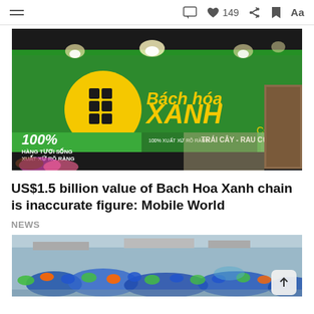≡   [comment icon] 👍 149 [share icon] [bookmark icon] Aa
[Figure (photo): Bach Hoa Xanh grocery store front with green signage and yellow logo showing 'Bách hóa XANH .com'. Signs on storefront read '100% HÀNG TƯƠI SỐNG XUẤT XỨ RÕ RÀNG' and 'TRÁI CÂY - RAU CỦ GIÁ']
US$1.5 billion value of Bach Hoa Xanh chain is inaccurate figure: Mobile World
NEWS
[Figure (photo): Workers in colorful protective clothing and masks working in a factory or food processing facility]